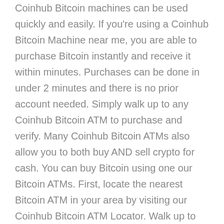Coinhub Bitcoin machines can be used quickly and easily. If you're using a Coinhub Bitcoin Machine near me, you are able to purchase Bitcoin instantly and receive it within minutes. Purchases can be done in under 2 minutes and there is no prior account needed. Simply walk up to any Coinhub Bitcoin ATM to purchase and verify. Many Coinhub Bitcoin ATMs also allow you to both buy AND sell crypto for cash. You can buy Bitcoin using one our Bitcoin ATMs. First, locate the nearest Bitcoin ATM in your area by visiting our Coinhub Bitcoin ATM Locator. Walk up to the machine and enter your phone number. The machine will verify your phone using a code and scan the bitcoin wallet. Enter each bill one at a time to determine the amount you wish to purchase. After that, confirm the purchase by entering the bitcoin atm. Bitcoin is then instantly sent to your wallet. The daily limit for buying Bitcoin is $25,000. There are Bitcoin